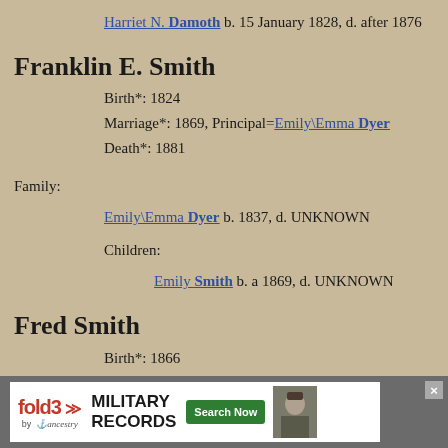Harriet N. Damoth b. 15 January 1828, d. after 1876
Franklin E. Smith
Birth*: 1824
Marriage*: 1869, Principal=Emily\Emma Dyer
Death*: 1881
Family:
Emily\Emma Dyer b. 1837, d. UNKNOWN
Children:
Emily Smith b. a 1869, d. UNKNOWN
Fred Smith
Birth*: 1866
Death*: 1936
[Figure (infographic): fold3 by Ancestry advertisement banner for Military Records with Search Now button]